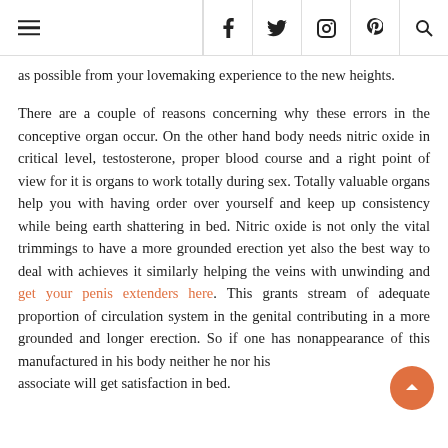≡  f  y  [instagram]  [pinterest]  [search]
as possible from your lovemaking experience to the new heights.
There are a couple of reasons concerning why these errors in the conceptive organ occur. On the other hand body needs nitric oxide in critical level, testosterone, proper blood course and a right point of view for it is organs to work totally during sex. Totally valuable organs help you with having order over yourself and keep up consistency while being earth shattering in bed. Nitric oxide is not only the vital trimmings to have a more grounded erection yet also the best way to deal with achieves it similarly helping the veins with unwinding and get your penis extenders here. This grants stream of adequate proportion of circulation system in the genital contributing in a more grounded and longer erection. So if one has nonappeara[nce] of this manufactured in his body neither he nor hi[s] associate will get satisfaction in bed.